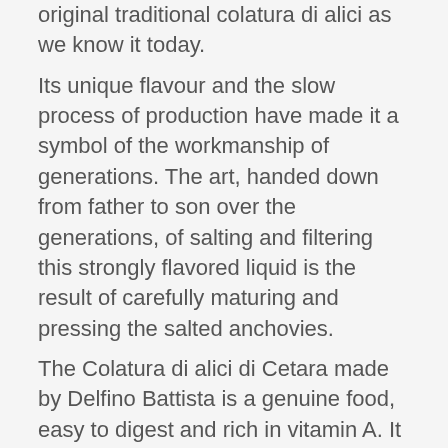original traditional colatura di alici as we know it today. Its unique flavour and the slow process of production have made it a symbol of the workmanship of generations. The art, handed down from father to son over the generations, of salting and filtering this strongly flavored liquid is the result of carefully maturing and pressing the salted anchovies. The Colatura di alici di Cetara made by Delfino Battista is a genuine food, easy to digest and rich in vitamin A. It can be seasoned with fresh herbs such as parsley, garlic, paprika and added to pure olive oil as a dressing for spaghetti or linguine. The traditional Chistmas fish supper is not complete without the colatura di alici di Cetara to garnish dishes. Nowadays, thanks to the skill and passion of Delfino Battista, the colatura di alici di Cetara can be used not only to prepare the famous spaghetti dish but also as a garnish